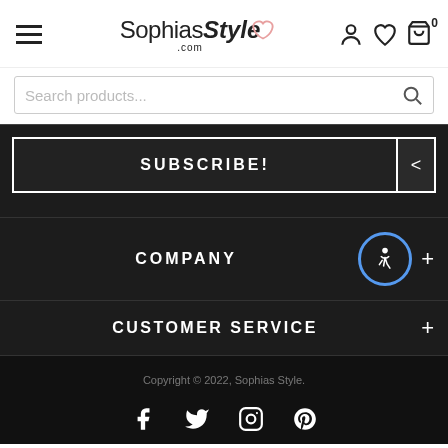[Figure (logo): SophiasStyle.com logo with hamburger menu and header icons (user, heart, cart)]
Search products...
SUBSCRIBE!
COMPANY
CUSTOMER SERVICE
Copyright © 2022, Sophias Style.
[Figure (illustration): Social media icons: Facebook, Twitter, Instagram, Pinterest]